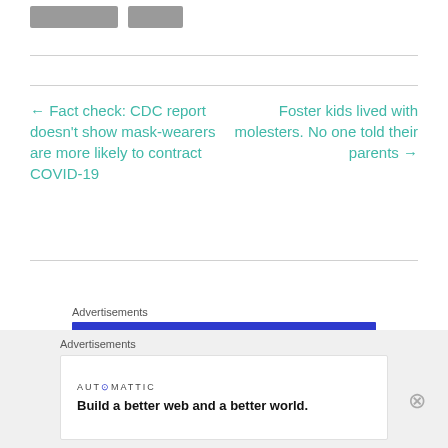[Figure (other): Partial gray logo/image shapes at top of page]
← Fact check: CDC report doesn't show mask-wearers are more likely to contract COVID-19
Foster kids lived with molesters. No one told their parents →
Advertisements
[Figure (logo): Pressable logo with dark square icon and bold text]
Advertisements
AUTOMATTIC
Build a better web and a better world.